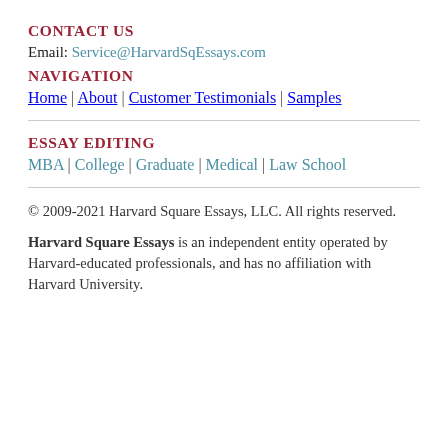CONTACT US
Email: Service@HarvardSqEssays.com
NAVIGATION
Home | About | Customer Testimonials | Samples
ESSAY EDITING
MBA | College | Graduate | Medical | Law School
© 2009-2021 Harvard Square Essays, LLC. All rights reserved.
Harvard Square Essays is an independent entity operated by Harvard-educated professionals, and has no affiliation with Harvard University.